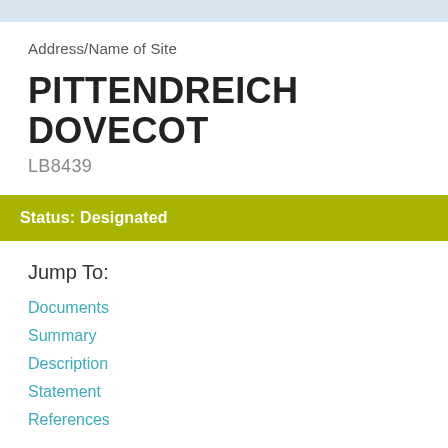Address/Name of Site
PITTENDREICH DOVECOT
LB8439
Status: Designated
Jump To:
Documents
Summary
Description
Statement
References